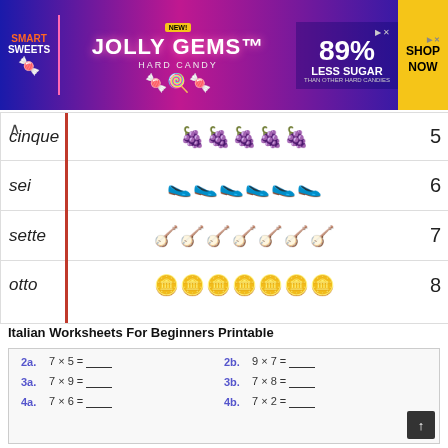[Figure (illustration): Smart Sweets Jolly Gems Hard Candy advertisement banner with colorful candy images, 89% Less Sugar text, and Shop Now button]
| Word | Icons | Number |
| --- | --- | --- |
| cinque | 🍇🍇🍇🍇🍇 | 5 |
| sei | 🥐🥐🥐🥐🥐🥐 | 6 |
| sette | 🪕🪕🪕🪕🪕🪕🪕 | 7 |
| otto | 🪙🪙🪙🪙🪙🪙🪙🪙 | 8 |
Italian Worksheets For Beginners Printable
| Problem | Expression | Problem | Expression |
| --- | --- | --- | --- |
| 2a. | 7 × 5 = ____ | 2b. | 9 × 7 = ____ |
| 3a. | 7 × 9 = ____ | 3b. | 7 × 8 = ____ |
| 4a. | 7 × 6 = ____ | 4b. | 7 × 2 = ____ |
| 5a. | 7 × 12 = ____ | 5b. | 12 × 7 = ____ |
| 6a. | 7 × 4 = ____ | 6b. | 2 × 7 = ____ |